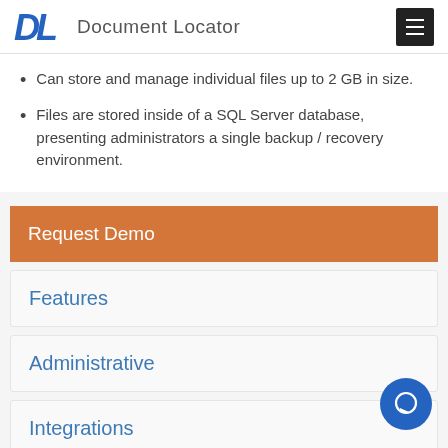DL Document Locator
Can store and manage individual files up to 2 GB in size.
Files are stored inside of a SQL Server database, presenting administrators a single backup / recovery environment.
Request Demo
Features
Administrative
Integrations
Videos